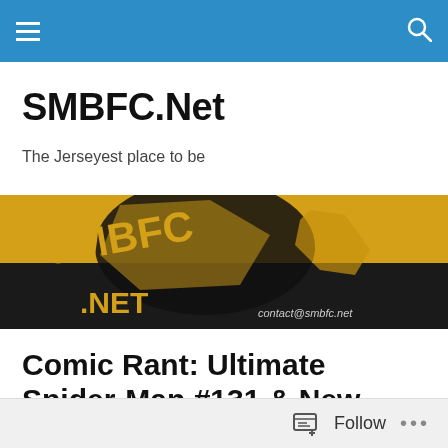Navigation bar with hamburger menu and search icon
SMBFC.Net
The Jerseyest place to be
[Figure (logo): SMBFC.Net logo banner — yellow and black background with fist graphic and text 'SMBFC.NET', contact@smbfc.net in bottom right]
Comic Rant: Ultimate Spider-Man #131 & New Avengers #50
[Figure (screenshot): Ultimatum logo image — black background with white stylized text 'ULTIMATUM']
Follow ...